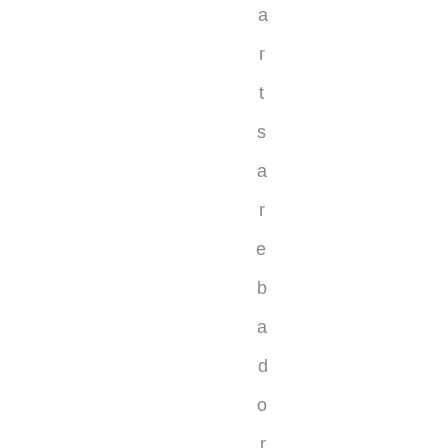arts are bad or the compress o